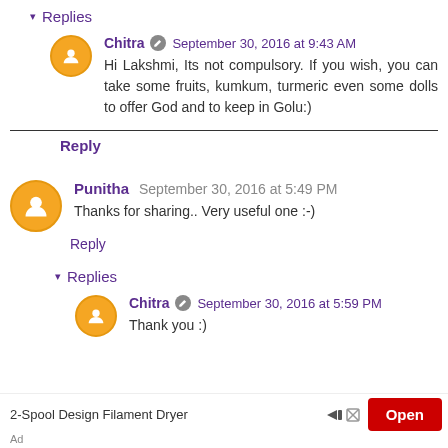▾ Replies
Chitra ✎ September 30, 2016 at 9:43 AM
Hi Lakshmi, Its not compulsory. If you wish, you can take some fruits, kumkum, turmeric even some dolls to offer God and to keep in Golu:)
Reply
Punitha September 30, 2016 at 5:49 PM
Thanks for sharing.. Very useful one :-)
Reply
▾ Replies
Chitra ✎ September 30, 2016 at 5:59 PM
Thank you :)
2-Spool Design Filament Dryer   [Open]   Ad